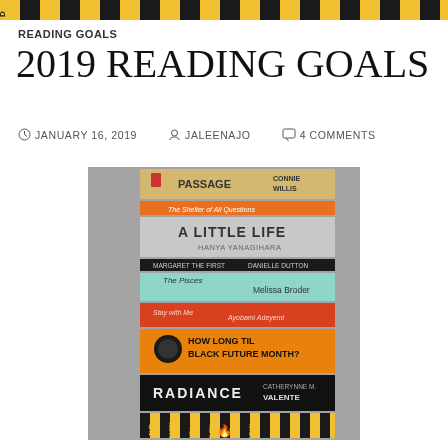READING GOALS
2019 READING GOALS
JANUARY 16, 2019   JALEENAJO   4 COMMENTS
[Figure (photo): Stack of books photographed from above at an angle showing spines including: Passage by Connie Willis, The Shelter of All Questions (orange), A Little Life by Hanya Yanagihara, Margaret the First by Danielle Dutton, The Pisces by Melissa Broder, Stay with Me by Ayobami Adeyemi, How Long Til Black Future Month? by N.K. Jemisin, Radiance by Catherynne M. Valente, and Our Hearts Will Burn Us Down (black/yellow striped spine)]